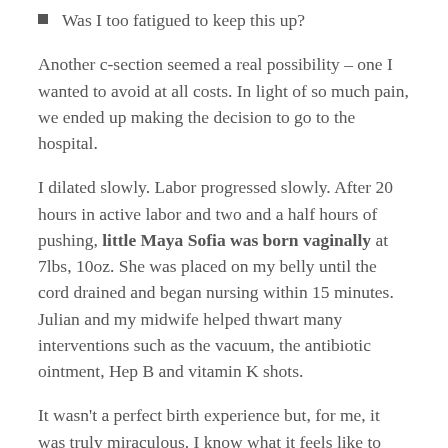Was I too fatigued to keep this up?
Another c-section seemed a real possibility – one I wanted to avoid at all costs. In light of so much pain, we ended up making the decision to go to the hospital.
I dilated slowly. Labor progressed slowly. After 20 hours in active labor and two and a half hours of pushing, little Maya Sofia was born vaginally at 7lbs, 10oz. She was placed on my belly until the cord drained and began nursing within 15 minutes. Julian and my midwife helped thwart many interventions such as the vacuum, the antibiotic ointment, Hep B and vitamin K shots.
It wasn't a perfect birth experience but, for me, it was truly miraculous. I know what it feels like to push a baby out and, for me, that's huge.
I bounced back super quick too and have been enjoying the